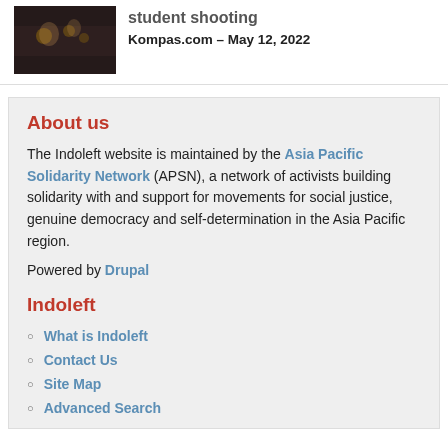[Figure (photo): Dark-toned photograph showing people at what appears to be a candlelit gathering or vigil]
student shooting
Kompas.com – May 12, 2022
About us
The Indoleft website is maintained by the Asia Pacific Solidarity Network (APSN), a network of activists building solidarity with and support for movements for social justice, genuine democracy and self-determination in the Asia Pacific region.
Powered by Drupal
Indoleft
What is Indoleft
Contact Us
Site Map
Advanced Search